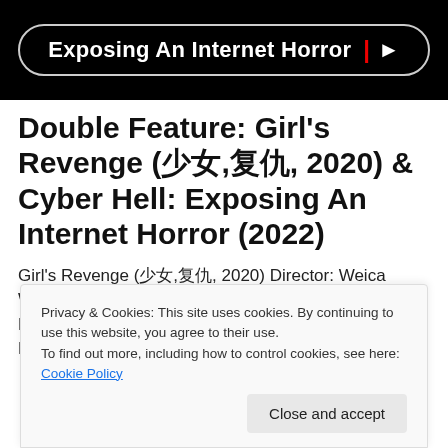[Figure (screenshot): Black banner with rounded rectangle button containing text 'Exposing An Internet Horror' with a red pipe separator and arrow icon]
Double Feature: Girl's Revenge (少女,复仇, 2020) & Cyber Hell: Exposing An Internet Horror (2022)
Girl's Revenge (少女,复仇, 2020) Director: Weica Wang Cast: Yu-Ping Wang, Yuri Chen, Shiny Yao, Pii Liu, Mike Lin, Edison Song, Teng-hong Xia, Moon Lee Bullying
Privacy & Cookies: This site uses cookies. By continuing to use this website, you agree to their use.
To find out more, including how to control cookies, see here: Cookie Policy
[Close and accept]